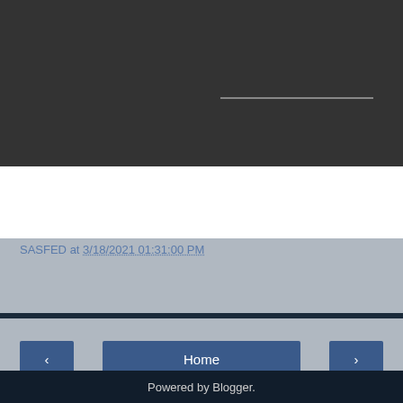[Figure (screenshot): Dark video/media player panel with a grey progress bar line visible in the middle-right area]
SASFED at 3/18/2021 01:31:00 PM
Share
‹
Home
›
View web version
Powered by Blogger.